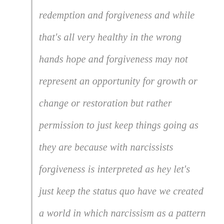redemption and forgiveness and while that's all very healthy in the wrong hands hope and forgiveness may not represent an opportunity for growth or change or restoration but rather permission to just keep things going as they are because with narcissists forgiveness is interpreted as hey let's just keep the status quo have we created a world in which narcissism as a pattern as a personality is becoming necessary to succeed in the new world order this is where we hit a bit of a problematic